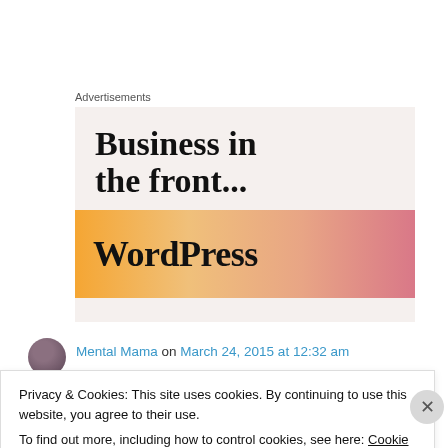Advertisements
[Figure (illustration): WordPress advertisement banner. Top section shows text 'Business in the front...' in large bold serif font on a light beige background. Bottom section is a gradient bar (orange to pink) with 'WordPress' in large bold serif font.]
Mental Mama on March 24, 2015 at 12:32 am
Privacy & Cookies: This site uses cookies. By continuing to use this website, you agree to their use.
To find out more, including how to control cookies, see here: Cookie Policy